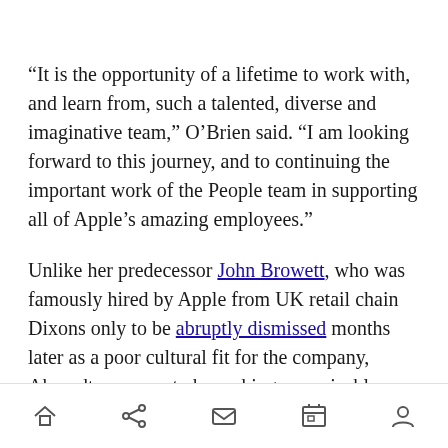“It is the opportunity of a lifetime to work with, and learn from, such a talented, diverse and imaginative team,” O’Brien said. “I am looking forward to this journey, and to continuing the important work of the People team in supporting all of Apple’s amazing employees.”
Unlike her predecessor John Browett, who was famously hired by Apple from UK retail chain Dixons only to be abruptly dismissed months later as a poor cultural fit for the company, Ahrendts appears to be making an amicable departure from the company. She and Cook both issued
Navigation bar with home, share, mail, calendar, and profile icons